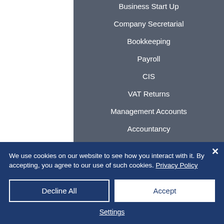Business Start Up
Company Secretarial
Bookkeeping
Payroll
CIS
VAT Returns
Management Accounts
Accountancy
Audit
Personal Tax Returns
Corporate Tax Returns
We use cookies on our website to see how you interact with it. By accepting, you agree to our use of such cookies. Privacy Policy
Decline All
Accept
Settings